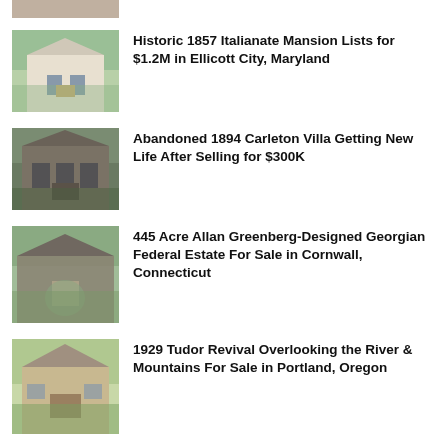[Figure (photo): Partial top of a house photo, cut off at top of page]
Historic 1857 Italianate Mansion Lists for $1.2M in Ellicott City, Maryland
[Figure (photo): Photo of an 1894 Carleton Villa, dark stone mansion with Gothic details]
Abandoned 1894 Carleton Villa Getting New Life After Selling for $300K
[Figure (photo): Aerial photo of a large Georgian Federal estate with circular driveway]
445 Acre Allan Greenberg-Designed Georgian Federal Estate For Sale in Cornwall, Connecticut
[Figure (photo): Photo of a 1929 Tudor Revival home with steep gabled roof]
1929 Tudor Revival Overlooking the River & Mountains For Sale in Portland, Oregon